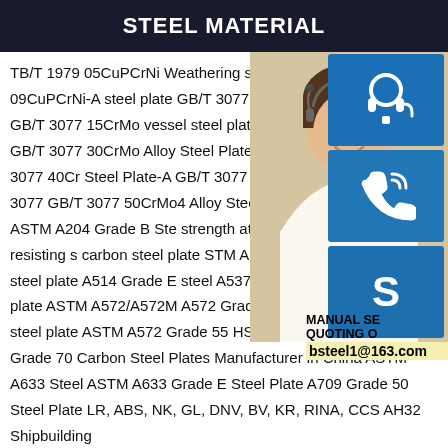STEEL MATERIAL
TB/T 1979 05CuPCrNi Weathering steel plate 09CuPCrNi-A l 09CuPCrNi-A steel plate GB/T 3077 12Cr: 13CrMo44 steel plate GB/T 3077 15CrMo vessel steel plate 16Mo3 steel plate GB/T GB/T 3077 30CrMo Alloy Steel Plate GB/T Steel Plate GB T-3077 40Cr Steel Plate-A GB/T 3077 42CrMo steel plate GB/T 3077 GB/T 3077 50CrMo4 Alloy Steel Plate EN Alloy Steel Plate ASTM A204 Grade B Ste strength atmospheric corrosion resisting s carbon steel plate STM A283 Grade D Ca Grade C steel plate A514 Grade E steel A537CL1 Pressure vessel steel plate ASTM A572/A572M A572 Grade 50 steel A572 Grade 42 steel plate ASTM A572 Grade 55 HSLA Steel SME SA573 Grade 70 Carbon Steel Plates Manufacturer in China ASTM A633 Steel ASTM A633 Grade E Steel Plate A709 Grade 50 Steel Plate LR, ABS, NK, GL, DNV, BV, KR, RINA, CCS AH32 Shipbuilding
[Figure (photo): Customer service representative woman with headset, alongside blue icon buttons for headset/phone/Skype and contact information overlay showing MANUAL SE, QUOTING O, and bsteel1@163.com]